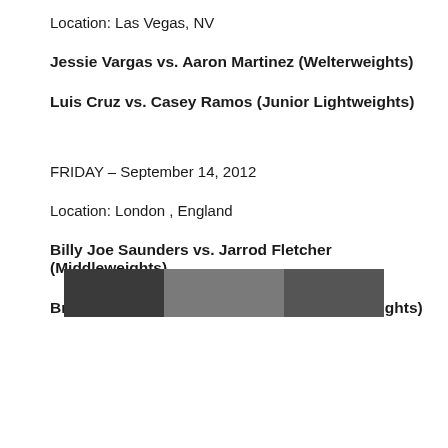Location: Las Vegas, NV
Jessie Vargas vs. Aaron Martinez (Welterweights)
Luis Cruz vs. Casey Ramos (Junior Lightweights)
FRIDAY – September 14, 2012
Location: London , England
Billy Joe Saunders vs. Jarrod Fletcher (Middleweights)
Bradley Skeete vs. Chas Symonds (Welterweights)
[Figure (photo): Partial photograph visible at bottom of page]